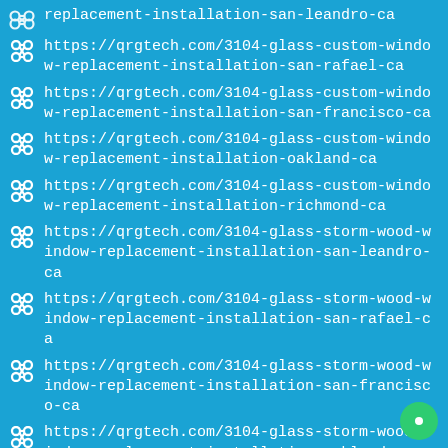https://qrgtech.com/3104-glass-custom-window-replacement-installation-san-leandro-ca
https://qrgtech.com/3104-glass-custom-window-replacement-installation-san-rafael-ca
https://qrgtech.com/3104-glass-custom-window-replacement-installation-san-francisco-ca
https://qrgtech.com/3104-glass-custom-window-replacement-installation-oakland-ca
https://qrgtech.com/3104-glass-custom-window-replacement-installation-richmond-ca
https://qrgtech.com/3104-glass-storm-wood-window-replacement-installation-san-leandro-ca
https://qrgtech.com/3104-glass-storm-wood-window-replacement-installation-san-rafael-ca
https://qrgtech.com/3104-glass-storm-wood-window-replacement-installation-san-francisco-ca
https://qrgtech.com/3104-glass-storm-wood-window-replacement-installation-oakland-ca
https://qrgtech.com/3104-glass-storm-wood-window-replacement-installation-richmond-ca